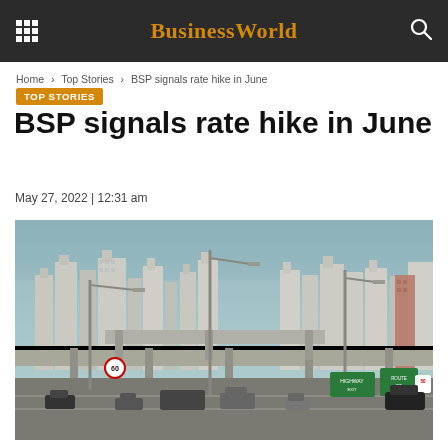BusinessWorld
Home > Top Stories > BSP signals rate hike in June
TOP STORIES
BSP signals rate hike in June
May 27, 2022 | 12:31 am
[Figure (photo): Urban highway with city skyline in background showing tall buildings, elevated roadways, streetlights, and multiple vehicles on the road.]